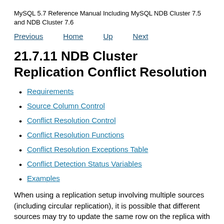MySQL 5.7 Reference Manual Including MySQL NDB Cluster 7.5 and NDB Cluster 7.6
Previous   Home   Up   Next
21.7.11 NDB Cluster Replication Conflict Resolution
Requirements
Source Column Control
Conflict Resolution Control
Conflict Resolution Functions
Conflict Resolution Exceptions Table
Conflict Detection Status Variables
Examples
When using a replication setup involving multiple sources (including circular replication), it is possible that different sources may try to update the same row on the replica with different data. Conflict